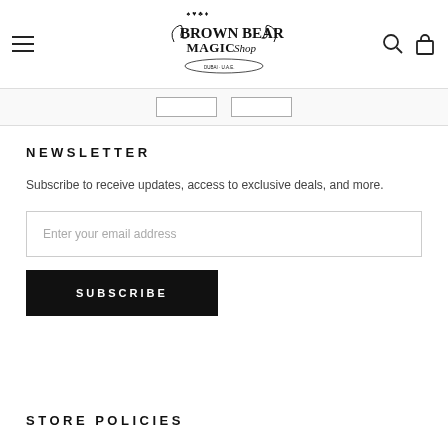Brown Bear Magic Shop
NEWSLETTER
Subscribe to receive updates, access to exclusive deals, and more.
Enter your email address
SUBSCRIBE
STORE POLICIES